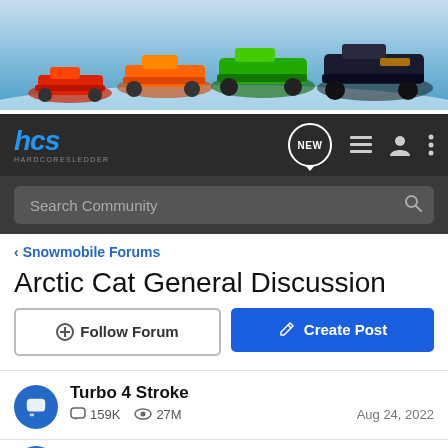[Figure (photo): Banner image showing multiple Arctic Cat snowmobiles on snowy terrain against a light blue sky]
hcs HARDCORESLEDDER navigation bar with NEW, list, user, and more icons, and Search Community search bar
< Snowmobile Forums
Arctic Cat General Discussion
+ Follow Forum   Create Post
Turbo 4 Stroke   159K   27M   Aug 24, 2022